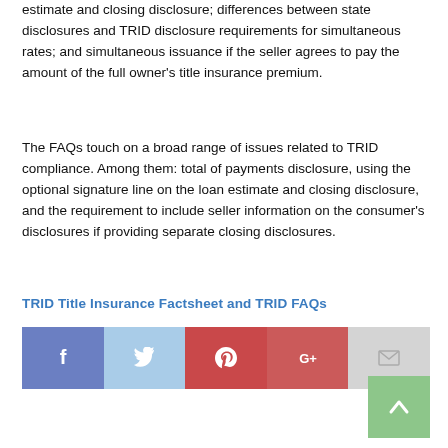estimate and closing disclosure; differences between state disclosures and TRID disclosure requirements for simultaneous rates; and simultaneous issuance if the seller agrees to pay the amount of the full owner's title insurance premium.
The FAQs touch on a broad range of issues related to TRID compliance. Among them: total of payments disclosure, using the optional signature line on the loan estimate and closing disclosure, and the requirement to include seller information on the consumer's disclosures if providing separate closing disclosures.
TRID Title Insurance Factsheet and TRID FAQs
[Figure (infographic): Social sharing bar with five buttons: Facebook (blue-purple, f icon), Twitter (light blue, bird icon), Pinterest (red, P icon), Google+ (red, G+ icon), Email (light gray, envelope icon)]
[Figure (other): Green back-to-top button with upward chevron arrow icon, positioned bottom right]